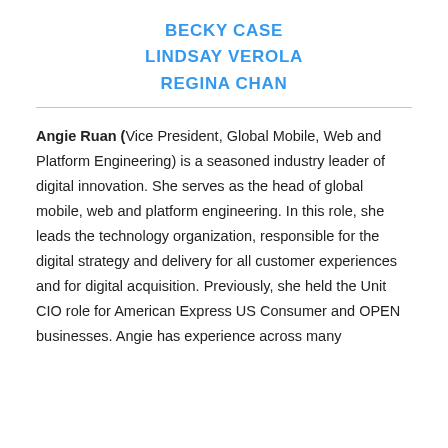BECKY CASE
LINDSAY VEROLA
REGINA CHAN
Angie Ruan (Vice President, Global Mobile, Web and Platform Engineering) is a seasoned industry leader of digital innovation. She serves as the head of global mobile, web and platform engineering. In this role, she leads the technology organization, responsible for the digital strategy and delivery for all customer experiences and for digital acquisition. Previously, she held the Unit CIO role for American Express US Consumer and OPEN businesses. Angie has experience across many